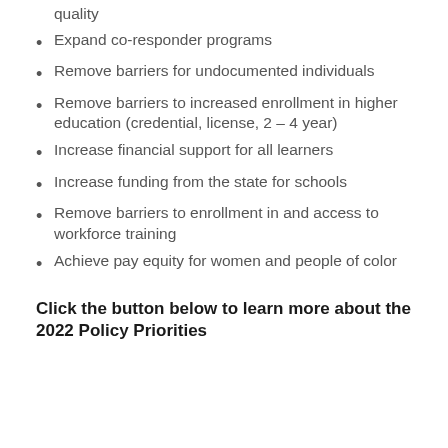quality
Expand co-responder programs
Remove barriers for undocumented individuals
Remove barriers to increased enrollment in higher education (credential, license, 2 – 4 year)
Increase financial support for all learners
Increase funding from the state for schools
Remove barriers to enrollment in and access to workforce training
Achieve pay equity for women and people of color
Click the button below to learn more about the 2022 Policy Priorities